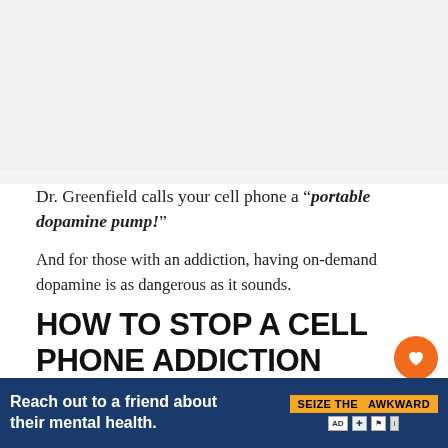[Figure (photo): Large image placeholder area at top of page (likely a photo related to cell phone use or dopamine)]
Dr. Greenfield calls your cell phone a “portable dopamine pump!”
And for those with an addiction, having on-demand dopamine is as dangerous as it sounds.
HOW TO STOP A CELL PHONE ADDICTION
If you believe it would be in your best interest to cut back on
[Figure (infographic): What's Next panel with circular avatar image and text: WHAT'S NEXT → How to Counter the...]
[Figure (infographic): Advertisement banner: Reach out to a friend about their mental health. SEIZE THE AWKWARD]